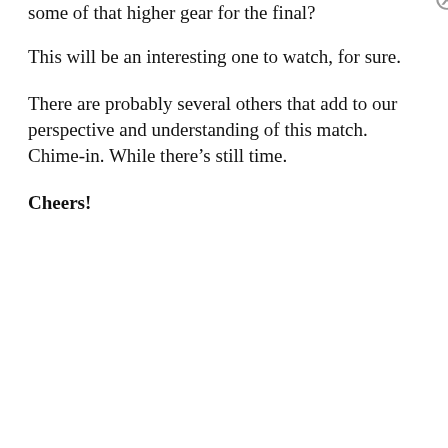some of that higher gear for the final?
This will be an interesting one to watch, for sure.
There are probably several others that add to our perspective and understanding of this match. Chime-in. While there’s still time.
Cheers!
Privacy & Cookies: This site uses cookies. By continuing to use this website, you agree to their use.
To find out more, including how to control cookies, see here: Cookie Policy
Close and accept